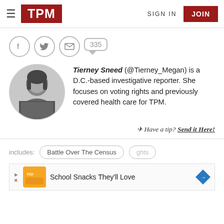TPM | SIGN IN | JOIN
[Figure (screenshot): Social sharing icons: Facebook, Twitter, Email circles and a comment bubble showing 335]
[Figure (photo): Black and white circular profile photo of Tierney Sneed]
Tierney Sneed (@Tierney_Megan) is a D.C.-based investigative reporter. She focuses on voting rights and previously covered health care for TPM.
Have a tip? Send it Here!
includes: Battle Over The Census
[Figure (screenshot): Advertisement banner: School Snacks They'll Love with food brand logo and navigation arrow]